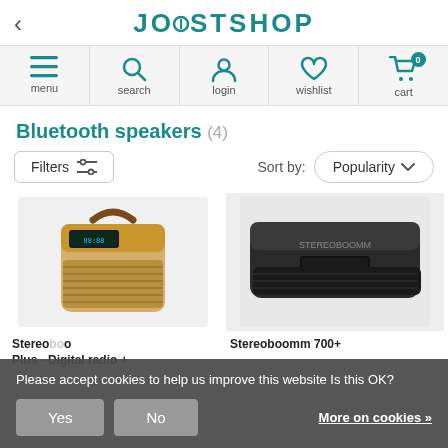JOOSTSHOP
[Figure (screenshot): Navigation bar with icons: menu (hamburger), search (magnifying glass), login (person), wishlist (heart), cart (shopping cart with 0 badge)]
Bluetooth speakers (4)
Filters  Sort by: Popularity
[Figure (photo): Retro-style portable Bluetooth speaker with wooden body and handle, showing digital radio display]
[Figure (photo): Black rectangular Bluetooth speaker, Stereoboomm 700+]
Stereo... bo... Plus - Digital radio +
Stereoboomm 700+
Please accept cookies to help us improve this website Is this OK?